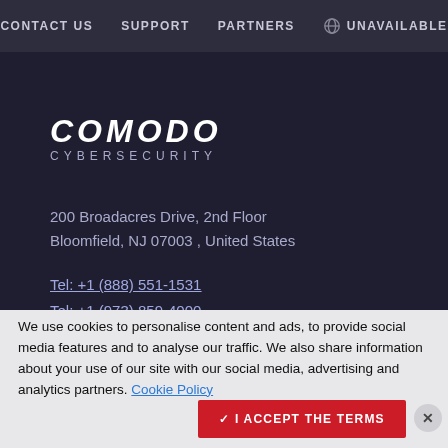CONTACT US   SUPPORT   PARTNERS   UNAVAILABLE
[Figure (logo): Comodo Cybersecurity logo — bold italic white COMODO text above CYBERSECURITY in spaced caps]
200 Broadacres Drive, 2nd Floor
Bloomfield, NJ 07003 , United States
Tel: +1 (888) 551-1531
Tel: +1 (973) 859-4000
Fax: +1 (973) 777-4394
We use cookies to personalise content and ads, to provide social media features and to analyse our traffic. We also share information about your use of our site with our social media, advertising and analytics partners. Cookie Policy
✓ I ACCEPT THE TERMS